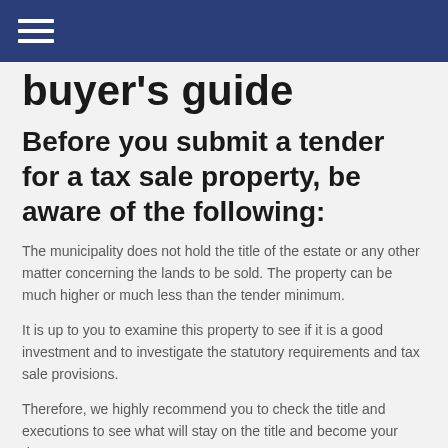buyer's guide
Before you submit a tender for a tax sale property, be aware of the following:
The municipality does not hold the title of the estate or any other matter concerning the lands to be sold. The property can be much higher or much less than the tender minimum.
It is up to you to examine this property to see if it is a good investment and to investigate the statutory requirements and tax sale provisions.
Therefore, we highly recommend you to check the title and executions to see what will stay on the title and become your duty